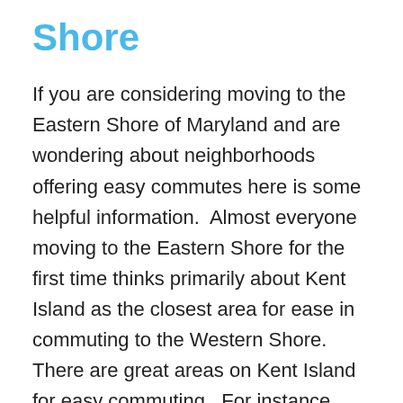Shore
If you are considering moving to the Eastern Shore of Maryland and are wondering about neighborhoods offering easy commutes here is some helpful information.  Almost everyone moving to the Eastern Shore for the first time thinks primarily about Kent Island as the closest area for ease in commuting to the Western Shore.  There are great areas on Kent Island for easy commuting.  For instance Cloverfields which is north of Route 50 is a great neighborhood offering easy access to Route 50.  There is less traffic and you can very quickly be on Route 50 east or westbound.  On the south side of Route 50 Bay City is a great choice because it has a great traffic light to quickly get on...